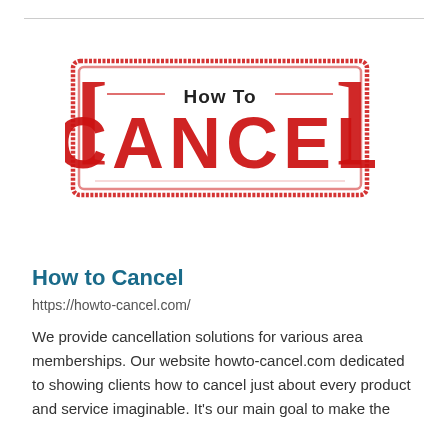[Figure (logo): How to Cancel stamp logo — a red rubber-stamp style graphic with 'How To' in dark text on top and 'CANCEL' in large bold red letters, enclosed in a red rectangular border with bracket-like decorations on the sides]
How to Cancel
https://howto-cancel.com/
We provide cancellation solutions for various area memberships. Our website howto-cancel.com dedicated to showing clients how to cancel just about every product and service imaginable. It's our main goal to make the